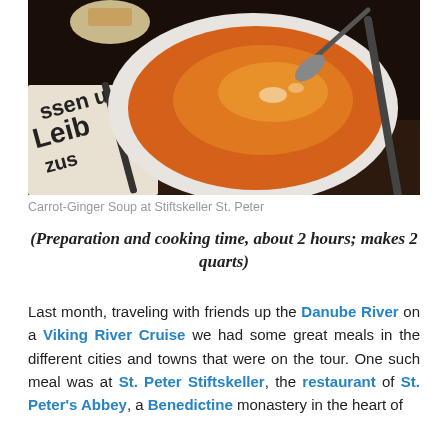[Figure (photo): A bowl of carrot-ginger soup with a spoon, on a table with a newspaper, photographed at Stiftskeller St. Peter]
Carrot-Ginger Soup at Stiftskeller St. Peter
(Preparation and cooking time, about 2 hours; makes 2 quarts)
Last month, traveling with friends up the Danube River on a Viking River Cruise we had some great meals in the different cities and towns that were on the tour. One such meal was at St. Peter Stiftskeller, the restaurant of St. Peter's Abbey, a Benedictine monastery in the heart of